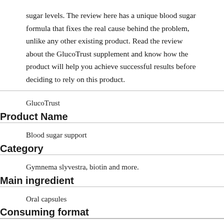sugar levels. The review here has a unique blood sugar formula that fixes the real cause behind the problem, unlike any other existing product. Read the review about the GlucoTrust supplement and know how the product will help you achieve successful results before deciding to rely on this product.
| Field | Value |
| --- | --- |
| Product Name | GlucoTrust |
| Category | Blood sugar support |
| Main ingredient | Gymnema slyvestra, biotin and more. |
| Consuming format | Oral capsules |